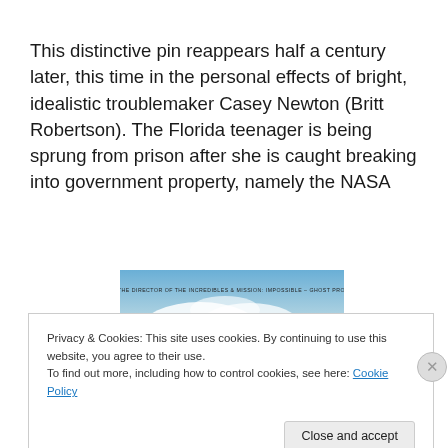This distinctive pin reappears half a century later, this time in the personal effects of bright, idealistic troublemaker Casey Newton (Britt Robertson). The Florida teenager is being sprung from prison after she is caught breaking into government property, namely the NASA
[Figure (photo): A movie banner image showing sky with clouds and text reading 'FROM THE DIRECTOR OF THE INCREDIBLES & MISSION: IMPOSSIBLE - GHOST PROTOCOL']
Privacy & Cookies: This site uses cookies. By continuing to use this website, you agree to their use.
To find out more, including how to control cookies, see here: Cookie Policy